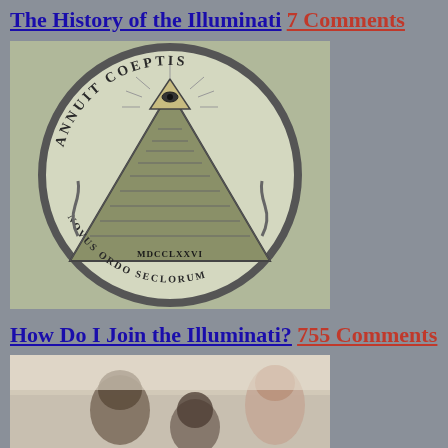The History of the Illuminati 7 Comments
[Figure (photo): Circle seal from US dollar bill showing the Eye of Providence above a pyramid, with text 'ANNUIT COEPTIS' and 'NOVUS ORDO SECLORUM']
How Do I Join the Illuminati? 755 Comments
[Figure (photo): Blurry photo of people seated, appears to be a meeting or hearing room]